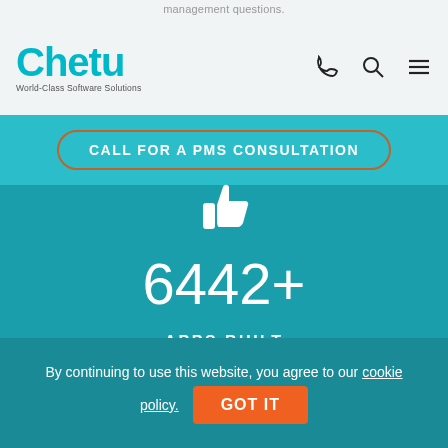management questions.
[Figure (logo): Chetu logo with tagline 'World-Class Software Solutions', phone icon, search icon, and hamburger menu icon]
CALL FOR A PMS CONSULTATION
[Figure (illustration): White thumbs-up icon on teal background]
6442+
APPS BUILT
By continuing to use this website, you agree to our cookie policy.
GOT IT